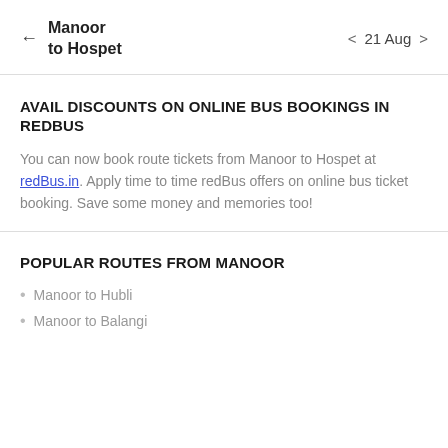← Manoor to Hospet   < 21 Aug >
AVAIL DISCOUNTS ON ONLINE BUS BOOKINGS IN REDBUS
You can now book route tickets from Manoor to Hospet at redBus.in. Apply time to time redBus offers on online bus ticket booking. Save some money and memories too!
POPULAR ROUTES FROM MANOOR
Manoor to Hubli
Manoor to Balangi